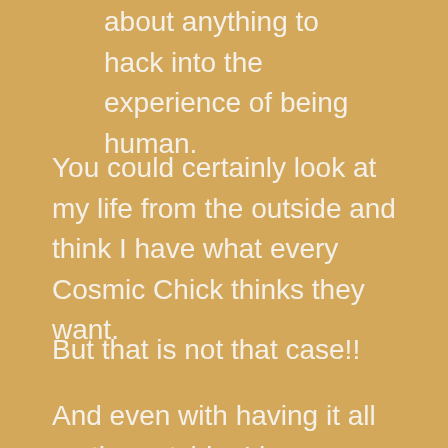about anything to hack into the experience of being human.
You could certainly look at my life from the outside and think I have what every Cosmic Chick thinks they want.
But that is not that case!!
And even with having it all on the outside, I have a serious